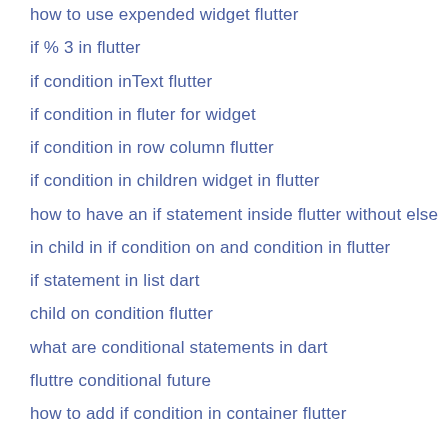how to use expended widget flutter
if % 3 in flutter
if condition inText flutter
if condition in fluter for widget
if condition in row column flutter
if condition in children widget in flutter
how to have an if statement inside flutter without else
in child in if condition on and condition in flutter
if statement in list dart
child on condition flutter
what are conditional statements in dart
fluttre conditional future
how to add if condition in container flutter